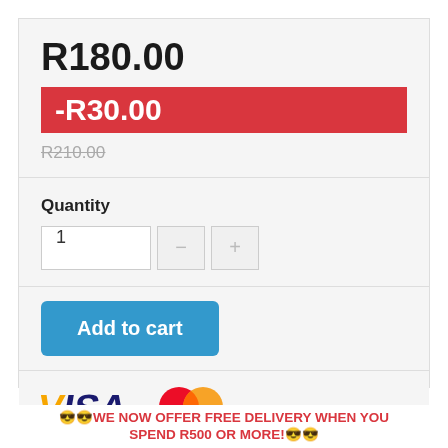R180.00
-R30.00
R210.00
Quantity
1
Add to cart
[Figure (logo): Visa and Mastercard payment logos]
🕶🕶WE NOW OFFER FREE DELIVERY WHEN YOU SPEND R500 OR MORE!🕶🕶